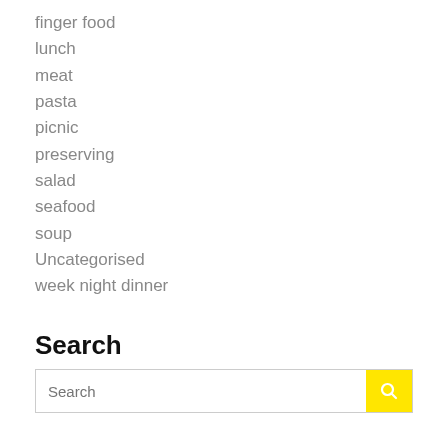finger food
lunch
meat
pasta
picnic
preserving
salad
seafood
soup
Uncategorised
week night dinner
Search
Search